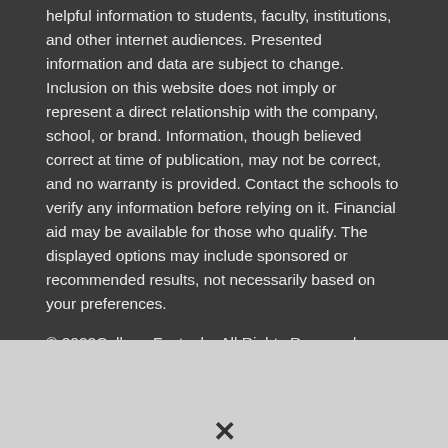helpful information to students, faculty, institutions, and other internet audiences. Presented information and data are subject to change. Inclusion on this website does not imply or represent a direct relationship with the company, school, or brand. Information, though believed correct at time of publication, may not be correct, and no warranty is provided. Contact the schools to verify any information before relying on it. Financial aid may be available for those who qualify. The displayed options may include sponsored or recommended results, not necessarily based on your preferences.
© 2022College Factual – All Rights Reserved.
About Us | Data | Privacy Policy | California Privacy | Do Not Sell My Info | Terms of Use